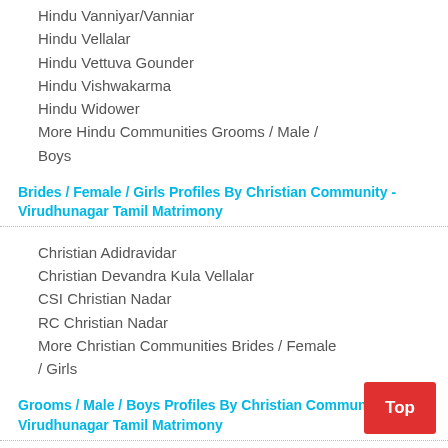Hindu Vanniyar/Vanniar
Hindu Vellalar
Hindu Vettuva Gounder
Hindu Vishwakarma
Hindu Widower
More Hindu Communities Grooms / Male / Boys
Brides / Female / Girls Profiles By Christian Community - Virudhunagar Tamil Matrimony
Christian Adidravidar
Christian Devandra Kula Vellalar
CSI Christian Nadar
RC Christian Nadar
More Christian Communities Brides / Female / Girls
Grooms / Male / Boys Profiles By Christian Community - Virudhunagar Tamil Matrimony
Christian Adidravidar
Christian Devandra Kula Vellalar
CSI Christian Nadar